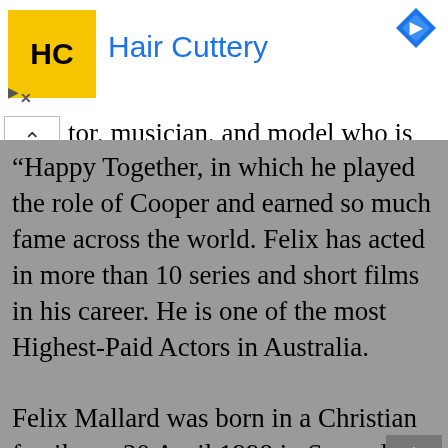[Figure (screenshot): Hair Cuttery advertisement banner with yellow logo box showing 'HC' text, brand name in blue, and a blue diamond/navigation icon in top right corner]
tor, musician, and model who is well known for his appearance in Television serials and web series. One of his most popular American comic series is
“Happy Together, in which he played the role of Cooper and earned so much fame across the world. Felix has acted in more than 10 series and short films in his career. He is one of the most Highest-Paid Actors in Australia.
Felix Mallard was born in a Christian family on 20 April 1998 in Semaphore,